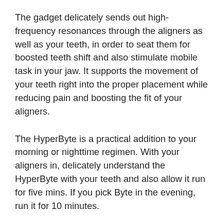The gadget delicately sends out high-frequency resonances through the aligners as well as your teeth, in order to seat them for boosted teeth shift and also stimulate mobile task in your jaw. It supports the movement of your teeth right into the proper placement while reducing pain and boosting the fit of your aligners.
The HyperByte is a practical addition to your morning or nighttime regimen. With your aligners in, delicately understand the HyperByte with your teeth and also allow it run for five mins. If you pick Byte in the evening, run it for 10 minutes.
Pros & Disadvantages